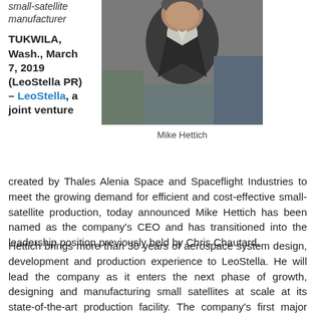small-satellite manufacturer
[Figure (photo): Headshot photo of Mike Hettich, a man in a dark suit jacket with an open-collar light shirt, in an industrial setting]
Mike Hettich
TUKWILA, Wash., March 7, 2019 (LeoStella PR) – LeoStella, a joint venture created by Thales Alenia Space and Spaceflight Industries to meet the growing demand for efficient and cost-effective small-satellite production, today announced Mike Hettich has been named as the company's CEO and has transitioned into the leadership position previously held by Chris Chautard.
Hettich brings more than 30 years of aerospace system design, development and production experience to LeoStella. He will lead the company as it enters the next phase of growth, designing and manufacturing small satellites at scale at its state-of-the-art production facility. The company's first major undertaking is